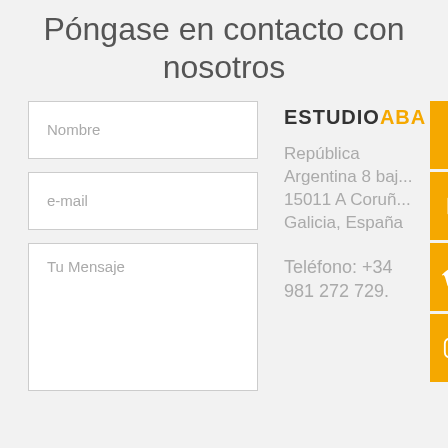Póngase en contacto con nosotros
Nombre
e-mail
Tu Mensaje
ESTUDIOABA
República Argentina 8 baj... 15011 A Coruñ... Galicia, España
Teléfono: +34 981 272 729.
[Figure (infographic): Social media icons bar on right edge: Facebook (f), play button (YouTube/Vimeo), Vimeo (V), Instagram — all on orange/yellow background]